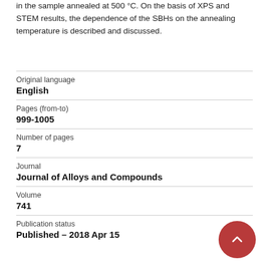in the sample annealed at 500 °C. On the basis of XPS and STEM results, the dependence of the SBHs on the annealing temperature is described and discussed.
| Original language | English |
| Pages (from-to) | 999-1005 |
| Number of pages | 7 |
| Journal | Journal of Alloys and Compounds |
| Volume | 741 |
| Publication status | Published – 2018 Apr 15 |